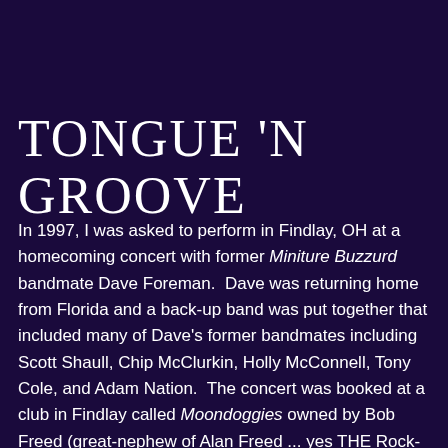TONGUE 'N GROOVE
In 1997, I was asked to perform in Findlay, OH at a homecoming concert with former Miniture Buzzurd bandmate Dave Foreman. Dave was returning home from Florida and a back-up band was put together that included many of Dave's former bandmates including Scott Shaull, Chip McClurkin, Holly McConnell, Tony Cole, and Adam Nation.  The concert was booked at a club in Findlay called Moondoggies owned by Bob Freed (great-nephew of Alan Freed ... yes THE Rock-n-Roll Alan Freed!).  The concert was a success and the band's chemistry was so obvious, that once Dave returned to Florida, the back-up band decided to continue performing ... and Tongue n' Groove was born.  As a founding member and original keyboard player of the